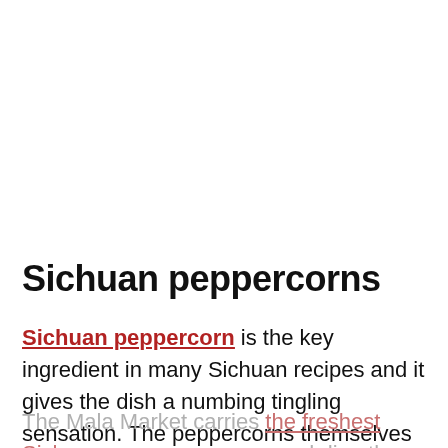Sichuan peppercorns
Sichuan peppercorn is the key ingredient in many Sichuan recipes and it gives the dish a numbing tingling sensation. The peppercorns themselves are not spicy at all.
The Mala Market carries the freshest Sichuan peppercorns sourced directly from Sichuan. It's the